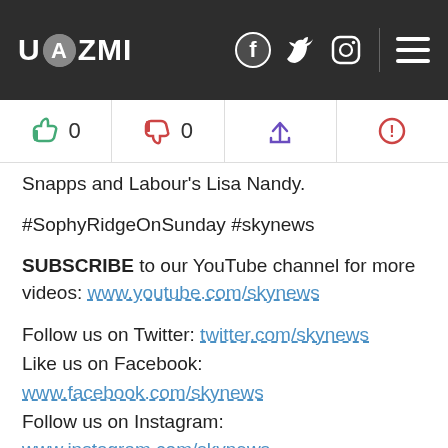UAZMI — header with social icons (Facebook, Twitter, Instagram, menu)
0 likes | 0 dislikes | share | alert
Snapps and Labour's Lisa Nandy.
#SophyRidgeOnSunday #skynews
SUBSCRIBE to our YouTube channel for more videos: www.youtube.com/skynews
Follow us on Twitter: twitter.com/skynews
Like us on Facebook:
www.facebook.com/skynews
Follow us on Instagram:
www.instagram.com/skynews
Follow us on TikTok: www.tiktok.com/@skynews
For more content go to news.sky.com and